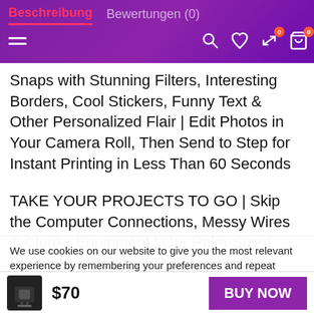Beschreibung   Bewertungen (0)
Snaps with Stunning Filters, Interesting Borders, Cool Stickers, Funny Text & Other Personalized Flair | Edit Photos in Your Camera Roll, Then Send to Step for Instant Printing in Less Than 60 Seconds
TAKE YOUR PROJECTS TO GO | Skip the Computer Connections, Messy Wires & Clunky Equipment | Our Palm-Sized Printer Weighs Less Than a Pound,
We use cookies on our website to give you the most relevant experience by remembering your preferences and repeat visits. By clicking “Accept”, you consent to the use of ALL the cookies.
Cookie settings   ACCEPT
$70   BUY NOW